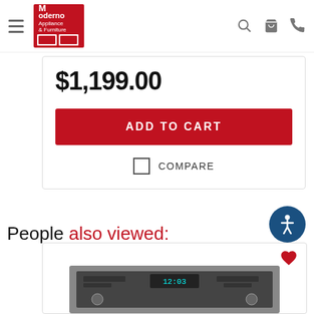Moderno Appliance & Furniture
$1,199.00
ADD TO CART
COMPARE
People also viewed:
[Figure (photo): Product image of an appliance control panel (oven/microwave) with digital display showing 12:03, stainless steel finish]